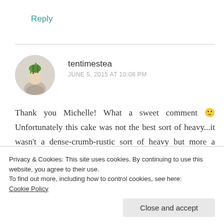Reply
[Figure (photo): Circular avatar photo of a person holding greens/herbs over their head, wearing a patterned shirt]
tentimestea
JUNE 5, 2015 AT 10:08 PM
Thank you Michelle! What a sweet comment 🙂 Unfortunately this cake was not the best sort of heavy...it wasn't a dense-crumb-rustic sort of heavy but more a squidgy-and-a-bit-wet sort of heavy. But the flavours were nice
Privacy & Cookies: This site uses cookies. By continuing to use this website, you agree to their use.
To find out more, including how to control cookies, see here: Cookie Policy
Close and accept